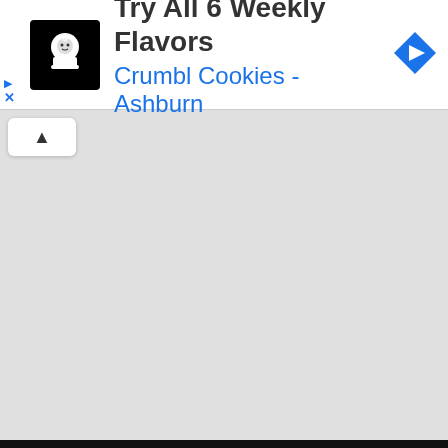[Figure (screenshot): Mobile advertisement banner for Crumbl Cookies - Ashburn with a black logo icon on the left, ad title 'Try All 6 Weekly Flavors', subtitle 'Crumbl Cookies - Ashburn' in blue, and a blue diamond navigation icon on the right. Below the ad is a grey map area with a white collapse button showing an upward caret. The bottom of the page shows a thin dark bar.]